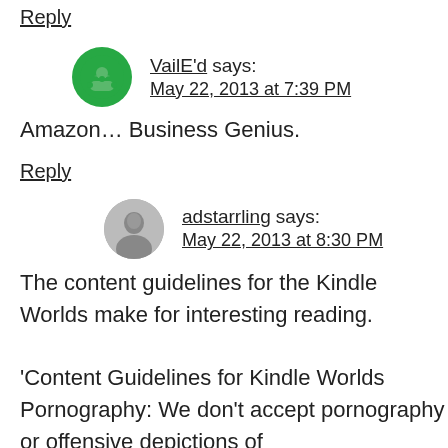Reply
VailE'd says:
May 22, 2013 at 7:39 PM
Amazon… Business Genius.
Reply
adstarrling says:
May 22, 2013 at 8:30 PM
The content guidelines for the Kindle Worlds make for interesting reading.

'Content Guidelines for Kindle Worlds Pornography: We don't accept pornography or offensive depictions of